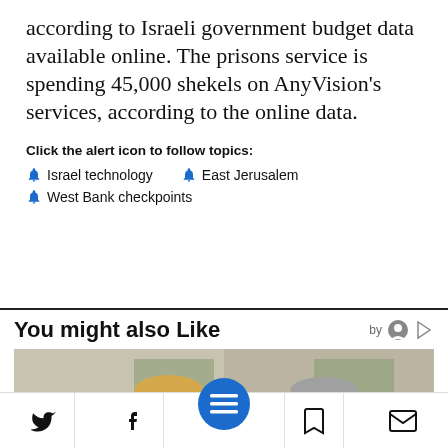according to Israeli government budget data available online. The prisons service is spending 45,000 shekels on AnyVision's services, according to the online data.
Click the alert icon to follow topics:
Israel technology
East Jerusalem
West Bank checkpoints
You might also Like
[Figure (photo): Photo of two men in suits standing side by side, appearing to be political figures.]